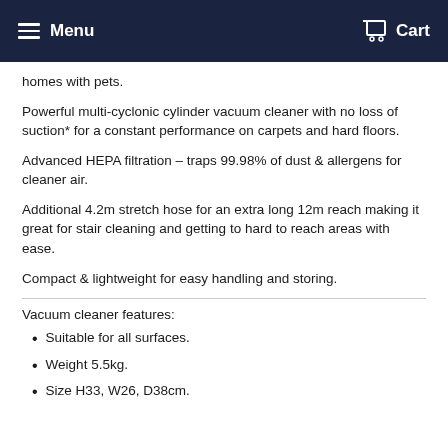Menu  Cart
homes with pets.
Powerful multi-cyclonic cylinder vacuum cleaner with no loss of suction* for a constant performance on carpets and hard floors.
Advanced HEPA filtration – traps 99.98% of dust & allergens for cleaner air.
Additional 4.2m stretch hose for an extra long 12m reach making it great for stair cleaning and getting to hard to reach areas with ease.
Compact & lightweight for easy handling and storing.
Vacuum cleaner features:
Suitable for all surfaces.
Weight 5.5kg.
Size H33, W26, D38cm.